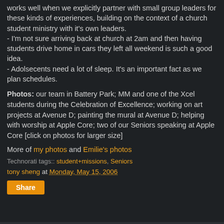works well when we explicitly partner with small group leaders for these kinds of experiences, building on the context of a church student ministry with it's own leaders.
- I'm not sure arriving back at church at 2am and then having students drive home in cars they left all weekend is such a good idea.
- Adolsecents need a lot of sleep. It's an important fact as we plan schedules.
Photos: our team in Battery Park; MM and one of the Xcel students during the Celebration of Excellence; working on art projects at Avenue D; painting the mural at Avenue D; helping with worship at Apple Core; two of our Seniors speaking at Apple Core [click on photos for larger size]
More of my photos and Emilie's photos
Technorati tags:: student+missions, Seniors
tony sheng at Monday, May 15, 2006